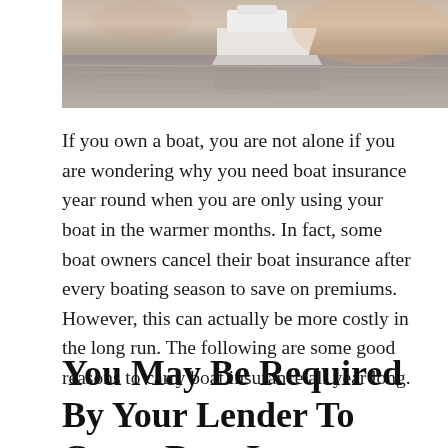[Figure (photo): Aerial or elevated view of a white boat on water during sunset/dusk with reflective water surface]
If you own a boat, you are not alone if you are wondering why you need boat insurance year round when you are only using your boat in the warmer months. In fact, some boat owners cancel their boat insurance after every boating season to save on premiums. However, this can actually be more costly in the long run. The following are some good reasons to carry boat insurance all year long.
You May Be Required By Your Lender To Carry Boat Insurance